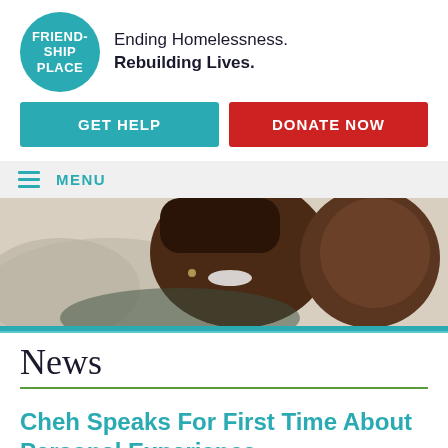[Figure (logo): Friendship Place circular teal logo with white text reading FRIEND-SHIP PLACE]
Ending Homelessness. Rebuilding Lives.
GET HELP
DONATE NOW
MENU
[Figure (photo): A smiling Black woman with braids and a young boy cheek-to-cheek, both looking at the camera]
News
Cheh Speaks For First Time About Personal Experience